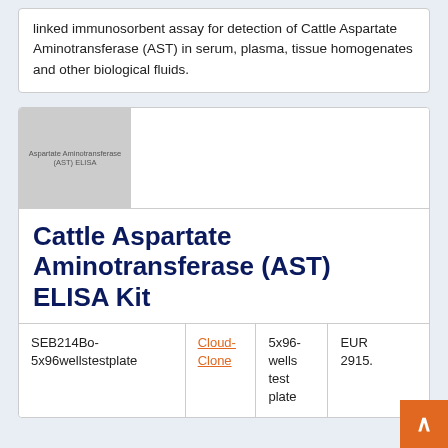linked immunosorbent assay for detection of Cattle Aspartate Aminotransferase (AST) in serum, plasma, tissue homogenates and other biological fluids.
[Figure (photo): Product image placeholder showing grey box with text 'Aspartate Aminotransferase (AST) ELISA']
Cattle Aspartate Aminotransferase (AST) ELISA Kit
|  |  |  |  |
| --- | --- | --- | --- |
| SEB214Bo-5x96wellstestplate | Cloud-Clone | 5x96-wells test plate | EUR 2915. |